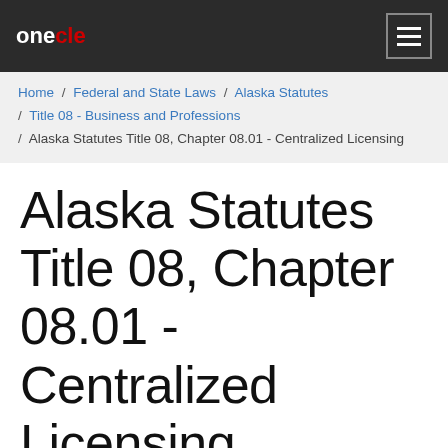onecle
Home / Federal and State Laws / Alaska Statutes / Title 08 - Business and Professions / Alaska Statutes Title 08, Chapter 08.01 - Centralized Licensing
Alaska Statutes Title 08, Chapter 08.01 - Centralized Licensing